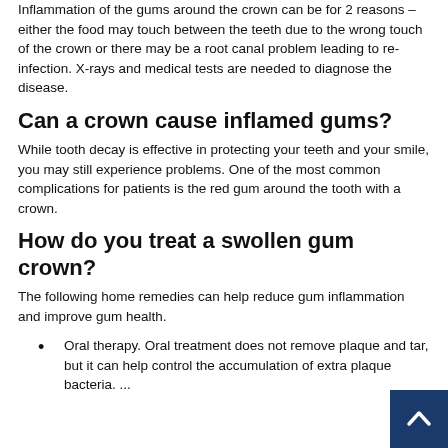Inflammation of the gums around the crown can be for 2 reasons – either the food may touch between the teeth due to the wrong touch of the crown or there may be a root canal problem leading to re-infection. X-rays and medical tests are needed to diagnose the disease.
Can a crown cause inflamed gums?
While tooth decay is effective in protecting your teeth and your smile, you may still experience problems. One of the most common complications for patients is the red gum around the tooth with a crown.
How do you treat a swollen gum crown?
The following home remedies can help reduce gum inflammation and improve gum health.
Oral therapy. Oral treatment does not remove plaque and tar, but it can help control the accumulation of extra plaque bacteria. ...